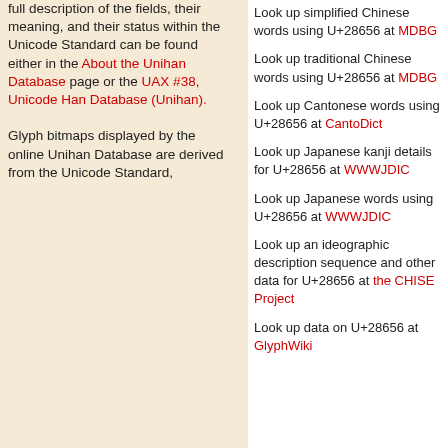full description of the fields, their meaning, and their status within the Unicode Standard can be found either in the About the Unihan Database page or the UAX #38, Unicode Han Database (Unihan).
Look up simplified Chinese words using U+28656 at MDBG
Look up traditional Chinese words using U+28656 at MDBG
Look up Cantonese words using U+28656 at CantoDict
Look up Japanese kanji details for U+28656 at WWWJDIC
Look up Japanese words using U+28656 at WWWJDIC
Look up an ideographic description sequence and other data for U+28656 at the CHISE Project
Look up data on U+28656 at GlyphWiki
Glyph bitmaps displayed by the online Unihan Database are derived from the Unicode Standard,
© 1991–2022 Unicode, Inc. All Rights Reserved. Unicode and the Unicode Logo are registered trademarks of Unicode, Inc. in the United States and other countries. Terms of Use